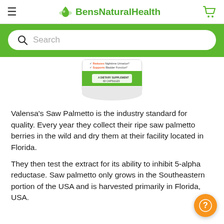BensNaturalHealth
[Figure (screenshot): Search bar with green background on BensNaturalHealth website]
[Figure (photo): Partial view of a dietary supplement bottle with green label showing checkmarks for Reduces Nighttime Urination and Supports Bladder Function, and A Dietary Supplement 60 Capsules text]
Valensa's Saw Palmetto is the industry standard for quality. Every year they collect their ripe saw palmetto berries in the wild and dry them at their facility located in Florida.
They then test the extract for its ability to inhibit 5-alpha reductase. Saw palmetto only grows in the Southeastern portion of the USA and is harvested primarily in Florida, USA.